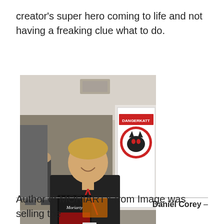creator's super hero coming to life and not having a freaking clue what to do.
[Figure (photo): A man in a black t-shirt holding a comic book titled 'Moriarty' at what appears to be a convention. Behind him is a banner reading 'DANGERKATT' with a logo. Other convention attendees are visible in the background.]
Daniel Corey –
Author of MORIARTY from Image was selling the